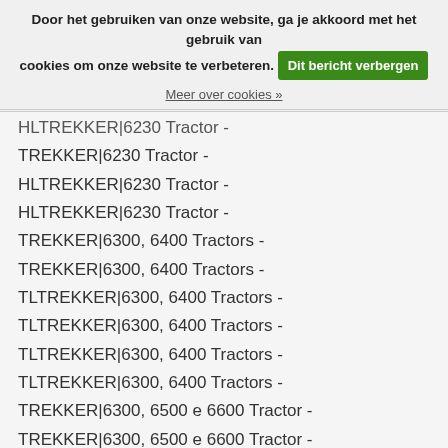Door het gebruiken van onze website, ga je akkoord met het gebruik van cookies om onze website te verbeteren. Dit bericht verbergen
Meer over cookies »
HLTREKKER|6230 Tractor -
TREKKER|6230 Tractor -
HLTREKKER|6230 Tractor -
HLTREKKER|6230 Tractor -
TREKKER|6300, 6400 Tractors -
TREKKER|6300, 6400 Tractors -
TLTREKKER|6300, 6400 Tractors -
TLTREKKER|6300, 6400 Tractors -
TLTREKKER|6300, 6400 Tractors -
TLTREKKER|6300, 6400 Tractors -
TREKKER|6300, 6500 e 6600 Tractor -
TREKKER|6300, 6500 e 6600 Tractor -
TREKKER|6300, 6500 e 6600 Tractor -
TREKKER|6300, 6500 e 6600 Tractor -
TREKKER|6300, 6500 e 6600 Tractor -
TREKKER|6300, 6500 e 6600 Tractor -
TREKKER|6300, 6500 e 6600 Tractor -